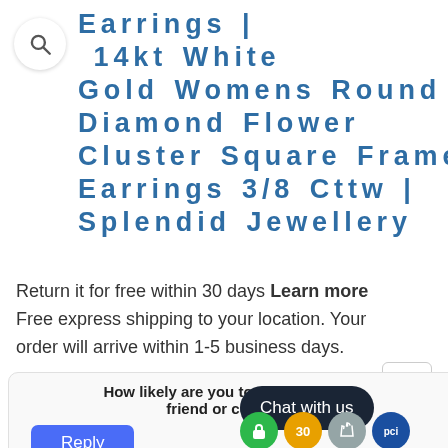[Figure (other): Search icon in a circular white button]
Earrings | 14kt White Gold Womens Round Diamond Flower Cluster Square Frame Earrings 3/8 Cttw | Splendid Jewellery
Return it for free within 30 days Learn more
Free express shipping to your location. Your order will arrive within 1-5 business days.
Afterpay is now available at the checkout for Australia, UK, and USA residents
How likely are you to recommend to a friend or colleague?
Chat with us